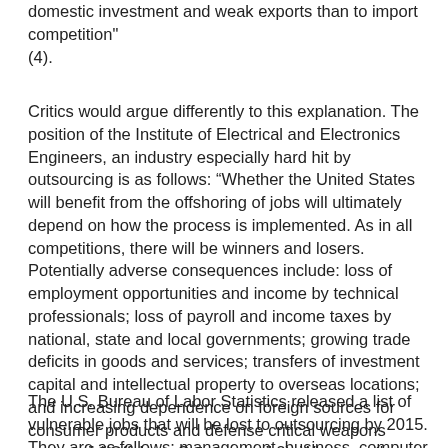domestic investment and weak exports than to import competition" (4).
Critics would argue differently to this explanation. The position of the Institute of Electrical and Electronics Engineers, an industry especially hard hit by outsourcing is as follows: “Whether the United States will benefit from the offshoring of jobs will ultimately depend on how the process is implemented. As in all competitions, there will be winners and losers. Potentially adverse consequences include: loss of employment opportunities and income by technical professionals; loss of payroll and income taxes by national, state and local governments; growing trade deficits in goods and services; transfers of investment capital and intellectual property to overseas locations; and increasing dependence on foreign sources for consumer products and defense critical weapons systems” (“Offshore Outsourcing” 2). Whatever the explanation, the truth is that American jobs are leaving this country in record numbers.
The U.S. Bureau of Labor Statistics released a list of vulnerable jobs that will be lost to outsourcing by 2015. They are as follows: management, business, computer, architecture, life sciences, legal,